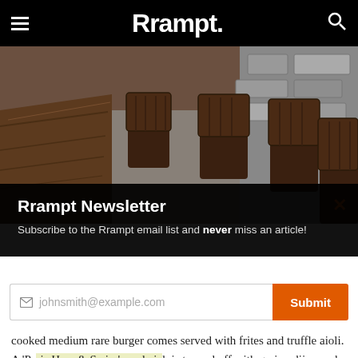Rrampt.
[Figure (photo): Interior of a restaurant with dark wooden chairs and tables on a concrete floor against a stone wall.]
Rrampt Newsletter
Subscribe to the Rrampt email list and never miss an article!
johnsmith@example.com  [Submit]
cooked medium rare burger comes served with frites and truffle aioli. A 'Paris Ham & Swiss' sandwich is topped off with grainy dijon and housemade pickles in a fresh baguette.